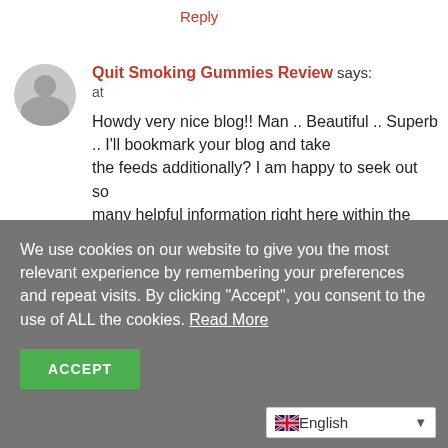Reply
Quit Smoking Gummies Review says:
at
Howdy very nice blog!! Man .. Beautiful .. Superb .. I'll bookmark your blog and take the feeds additionally? I am happy to seek out so many helpful information right here within the publish, we'd like develop extra techniques on this regard, thank you for sharing. . . . . .
My blog post :: Quit Smoking Gummies Review
We use cookies on our website to give you the most relevant experience by remembering your preferences and repeat visits. By clicking "Accept", you consent to the use of ALL the cookies. Read More
ACCEPT